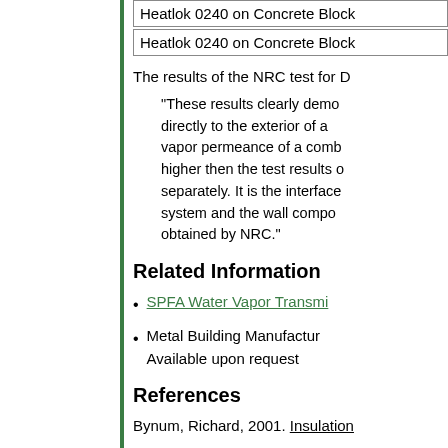| Heatlok 0240 on Concrete Block |
| Heatlok 0240 on Concrete Block |
The results of the NRC test for D
“These results clearly demo directly to the exterior of a vapor permeance of a comb higher then the test results o separately. It is the interface system and the wall compo obtained by NRC.”
Related Information
SPFA Water Vapor Transmi
Metal Building Manufactur Available upon request
References
Bynum, Richard, 2001. Insulation